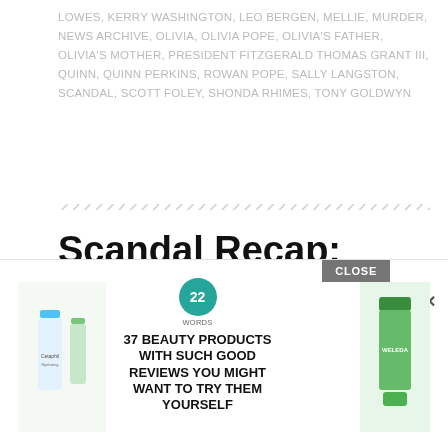LOWES, KERRY WASHINGTON, LEO BERGEN, MELLIE, MURDER, NEWS ARCHIVE, OLIVIA, OLIVIA POPE, OLIVIA'S FATHER, OLIVIA'S MOTHER, PRESIDENT FITZGERALD THOMAS GRANT III, QUINN, QUINN PERKINS, ROWAN POPE, SALLY LANGSTON, SCANDAL, SCOTT FOLEY, SHONDA RHIMES, TONY GOLDWYN
Scandal Recap: Families Stick Together
MARCH 28, 2014 BY TAMARATATTLES
14 COMMENTS
On this episode of Scandal, there are a lot of people who can't keep their mouths shut, their dicks out about dysfun
[Figure (infographic): Advertisement overlay: 37 Beauty Products with such good reviews you might want to try them yourself — featuring product images (Cetaphil, Weleda), a teal badge with '22', and a close button]